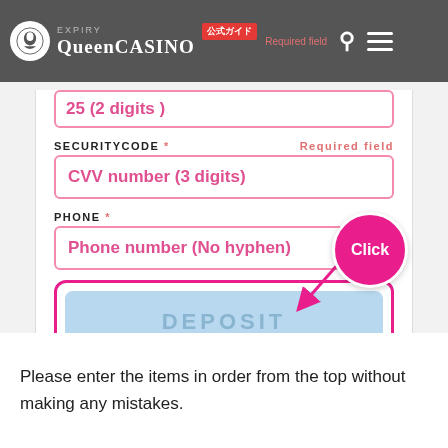QUEEN CASINO 公式ガイド
[Figure (screenshot): Queen Casino website form showing SECURITYCODE and PHONE fields with a pink 'Click' bubble pointing to a DEPOSIT button. The screenshot shows form fields with placeholder text 'CVV number (3 digits)' and 'Phone number (No hyphen)' and a light blue DEPOSIT button outlined in pink.]
Please enter the items in order from the top without making any mistakes.